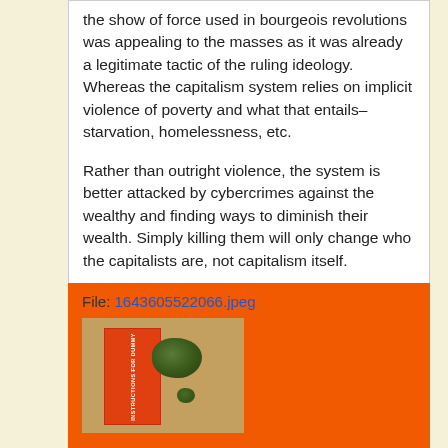the show of force used in bourgeois revolutions was appealing to the masses as it was already a legitimate tactic of the ruling ideology.
Whereas the capitalism system relies on implicit violence of poverty and what that entails–starvation, homelessness, etc.

Rather than outright violence, the system is better attacked by cybercrimes against the wealthy and finding ways to diminish their wealth. Simply killing them will only change who the capitalists are, not capitalism itself.
[Figure (photo): Orange background panel showing a file label 'File: 1643605522066.jpeg' and a photo of what appears to be cannabis buds placed on top of an orange book titled 'Instructions for...' on a wooden surface.]